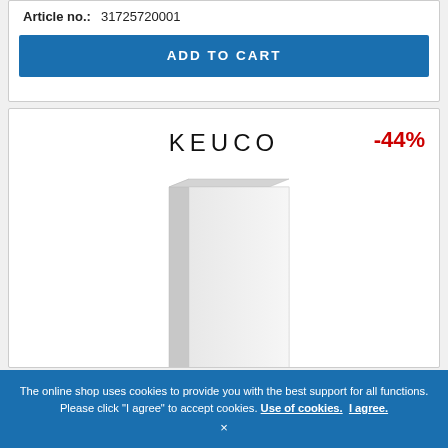Article no.: 31725720001
ADD TO CART
[Figure (photo): KEUCO white tall bathroom cabinet product image with -44% discount badge]
The online shop uses cookies to provide you with the best support for all functions. Please click "I agree" to accept cookies. Use of cookies. I agree. ×